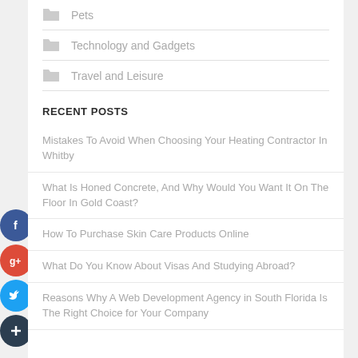Pets
Technology and Gadgets
Travel and Leisure
RECENT POSTS
Mistakes To Avoid When Choosing Your Heating Contractor In Whitby
What Is Honed Concrete, And Why Would You Want It On The Floor In Gold Coast?
How To Purchase Skin Care Products Online
What Do You Know About Visas And Studying Abroad?
Reasons Why A Web Development Agency in South Florida Is The Right Choice for Your Company